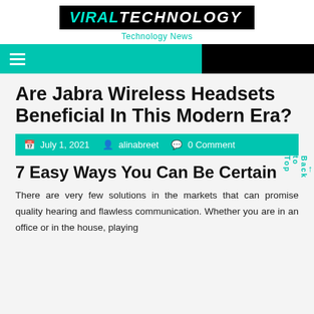VIRAL TECHNOLOGY — Technology News
Are Jabra Wireless Headsets Beneficial In This Modern Era?
July 1, 2021   alinabreet   0 Comment
7 Easy Ways You Can Be Certain
There are very few solutions in the markets that can promise quality hearing and flawless communication. Whether you are in an office or in the house, playing